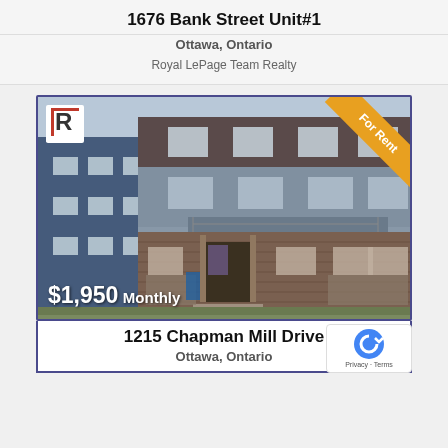1676 Bank Street Unit#1
Ottawa, Ontario
Royal LePage Team Realty
[Figure (photo): Exterior photo of a multi-storey residential building with blue and brown siding, brick lower level, balconies, front entrance with steps. 'For Rent' ribbon in top-right corner. Price overlay '$1,950 Monthly' in bottom-left. Realtor logo in top-left.]
1215 Chapman Mill Drive
Ottawa, Ontario